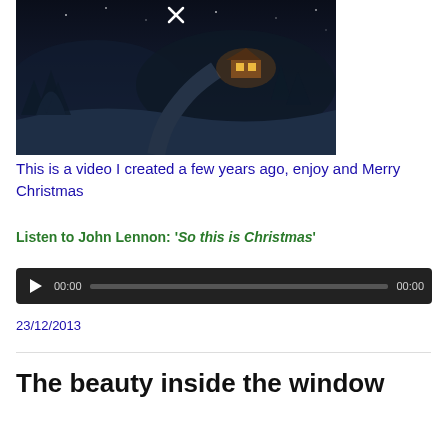[Figure (illustration): A dark nighttime winter scene with a snow-covered landscape, winding path, and a cozy illuminated cabin in the background. Trees covered in snow on the sides. An X/close icon at the top center.]
This is a video I created a few years ago, enjoy and Merry Christmas
Listen to John Lennon: 'So this is Christmas'
[Figure (other): Audio player widget with a play button, 00:00 start time, progress bar, and 00:00 end time, on a dark background.]
23/12/2013
The beauty inside the window